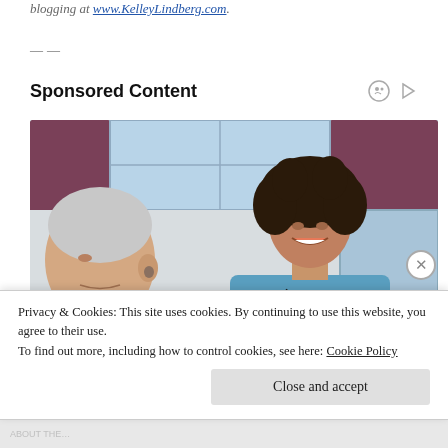blogging at www.KelleyLindberg.com.
——
Sponsored Content
[Figure (photo): A smiling female nurse in blue scrubs with a stethoscope talking to an elderly male patient, indoor setting with curtains and window in background.]
Privacy & Cookies: This site uses cookies. By continuing to use this website, you agree to their use.
To find out more, including how to control cookies, see here: Cookie Policy
Close and accept